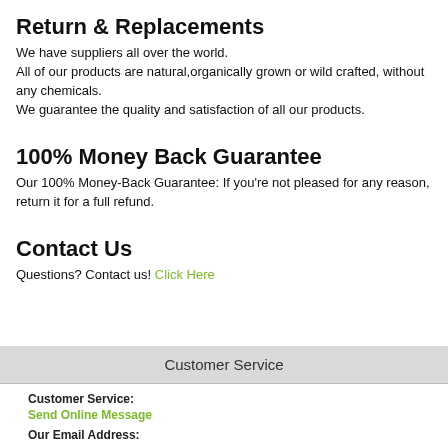Return & Replacements
We have suppliers all over the world.
All of our products are natural,organically grown or wild crafted, without any chemicals.
We guarantee the quality and satisfaction of all our products.
100% Money Back Guarantee
Our 100% Money-Back Guarantee: If you're not pleased for any reason, return it for a full refund.
Contact Us
Questions? Contact us! Click Here
Customer Service
Customer Service:
Send Online Message
Our Email Address: